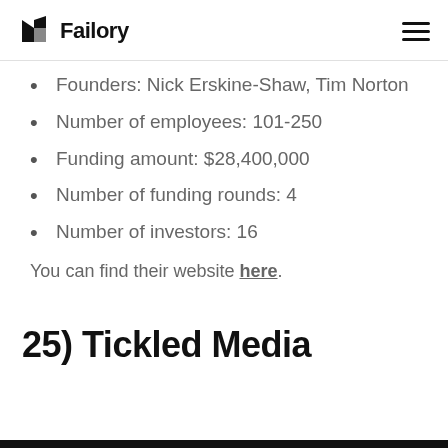Failory
Founders: Nick Erskine-Shaw, Tim Norton
Number of employees: 101-250
Funding amount: $28,400,000
Number of funding rounds: 4
Number of investors: 16
You can find their website here.
25) Tickled Media